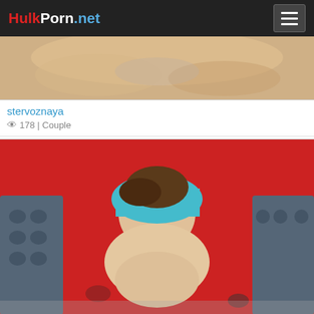HulkPorn.net
[Figure (photo): Close-up skin-tone thumbnail image of a couple]
stervoznaya
👁 178 | Couple
[Figure (photo): Woman in teal top against red wall background, explicit sexual content]